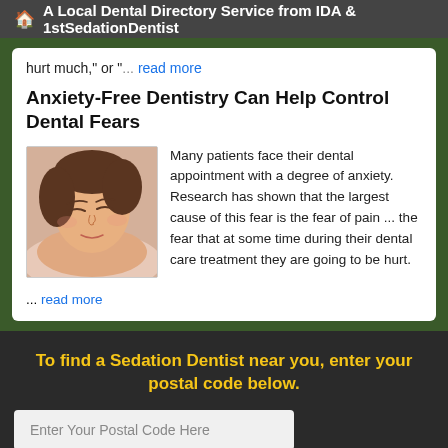🏠 A Local Dental Directory Service from IDA & 1stSedationDentist
hurt much," or "... read more
Anxiety-Free Dentistry Can Help Control Dental Fears
[Figure (photo): Photo of a woman resting with eyes closed, appearing relaxed]
Many patients face their dental appointment with a degree of anxiety. Research has shown that the largest cause of this fear is the fear of pain ... the fear that at some time during their dental care treatment they are going to be hurt.
... read more
To find a Sedation Dentist near you, enter your postal code below.
Enter Your Postal Code Here